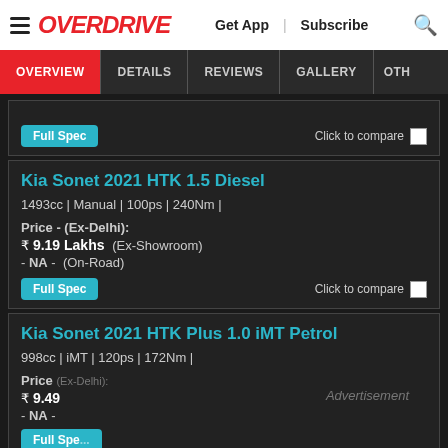OVERDRIVE | Get App | Subscribe
OVERVIEW | DETAILS | REVIEWS | GALLERY | OTH
Full Spec
Click to compare
Kia Sonet 2021 HTK 1.5 Diesel
1493cc | Manual | 100ps | 240Nm |
Price - (Ex-Delhi):
₹ 9.19 Lakhs  (Ex-Showroom)
- NA -  (On-Road)
Full Spec
Click to compare
Kia Sonet 2021 HTK Plus 1.0 iMT Petrol
998cc | iMT | 120ps | 172Nm |
Price (Ex-Delhi):
₹ 9.49... (Ex-Showroom)
- NA - (On-Road)
Full Spe...
Advertisement